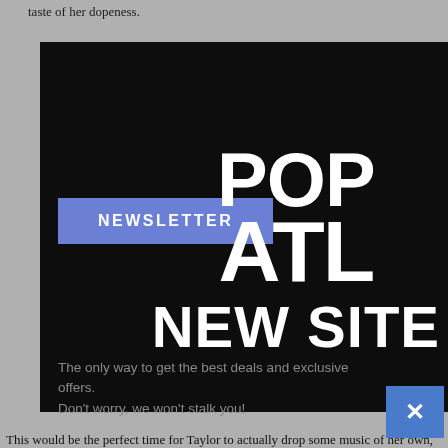taste of her dopeness.
[Figure (screenshot): Newsletter modal overlay on a blog page for Pop ATL New Site. Contains a blue NEWSLETTER button, logo text 'POP ATL NEW SITE' in large white bold letters, descriptive text about getting best deals and exclusive offers, an email input field with SUBSCRIBE button, and a close (x) button in blue at bottom right.]
The only way to get the best deals and exclusive offers. Don't worry, we won't stalk you!
Enter your email
SUBSCRIBE
This would be the perfect time for Taylor to actually drop some music of her own,